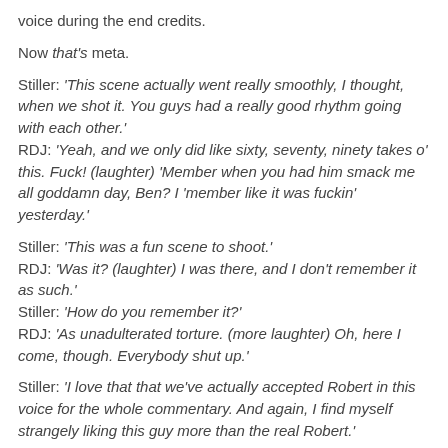voice during the end credits.
Now that's meta.
Stiller: 'This scene actually went really smoothly, I thought, when we shot it. You guys had a really good rhythm going with each other.' RDJ: 'Yeah, and we only did like sixty, seventy, ninety takes o' this. Fuck! (laughter) 'Member when you had him smack me all goddamn day, Ben? I 'member like it was fuckin' yesterday.'
Stiller: 'This was a fun scene to shoot.' RDJ: 'Was it? (laughter) I was there, and I don't remember it as such.' Stiller: 'How do you remember it?' RDJ: 'As unadulterated torture. (more laughter) Oh, here I come, though. Everybody shut up.'
Stiller: 'I love that that we've actually accepted Robert in this voice for the whole commentary. And again, I find myself strangely liking this guy more than the real Robert.'